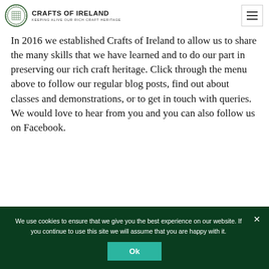CRAFTS OF IRELAND — KEEPING ALIVE OUR RICH CRAFT HERITAGE
In 2016 we established Crafts of Ireland to allow us to share the many skills that we have learned and to do our part in preserving our rich craft heritage. Click through the menu above to follow our regular blog posts, find out about classes and demonstrations, or to get in touch with queries. We would love to hear from you and you can also follow us on Facebook.
We use cookies to ensure that we give you the best experience on our website. If you continue to use this site we will assume that you are happy with it. Ok